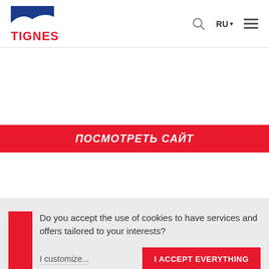[Figure (logo): Tignes logo: blue mountain/wave shape icon above red bold text TIGNES]
RU ▾  ≡
ПОСМОТРЕТЬ САЙТ
Do you accept the use of cookies to have services and offers tailored to your interests?
I customize...
I ACCEPT EVERYTHING